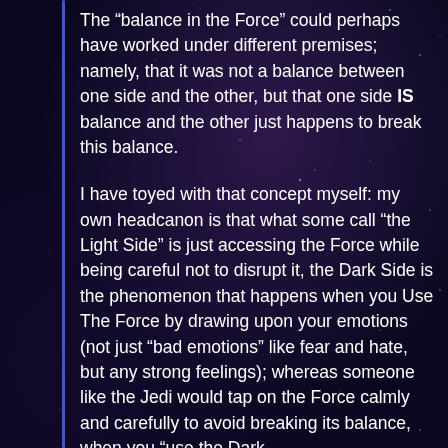The “balance in the Force” could perhaps have worked under different premises; namely, that it was not a balance between one side and the other, but that one side IS balance and the other just happens to break this balance.
I have toyed with that concept myself: my own headcanon is that what some call “the Light Side” is just accessing the Force while being careful not to disrupt it, the Dark Side is the phenomenon that happens when you Use The Force by drawing upon your emotions (not just “bad emotions” like fear and hate, but any strong feelings); whereas someone like the Jedi would tap on the Force calmly and carefully to avoid breaking its balance, when you “use the Dark